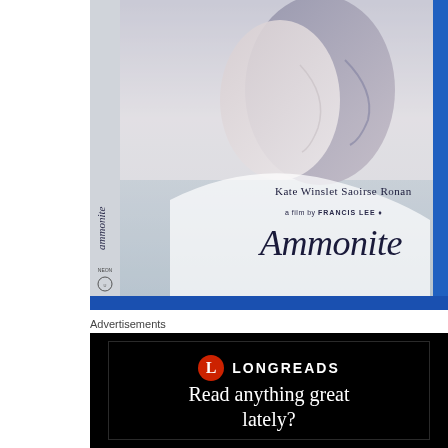[Figure (photo): Blu-ray disc case for the film 'Ammonite' directed by Francis Lee, starring Kate Winslet and Saoirse Ronan. The cover shows two faces in profile against a pale misty background with water. The spine shows 'ammonite' in cursive and NEON/Universal logos. The case has a distinctive blue Blu-ray edge border.]
Advertisements
[Figure (screenshot): Advertisement banner for Longreads. Black background with a dark inner rectangle border. Contains the Longreads logo (red circle with white L) and the text 'LONGREADS' in white. Below reads 'Read anything great lately?' in white serif font.]